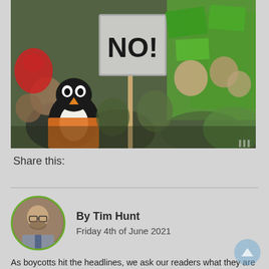[Figure (photo): Protest scene with people holding signs including a large 'NO!' sign on a placard, a person in a penguin costume, people in green high-visibility vests, and various green signs in the background.]
Share this:
By Tim Hunt
Friday 4th of June 2021
As boycotts hit the headlines, we ask our readers what they are currently boycotting.
Recently we've seen more and more conversations about